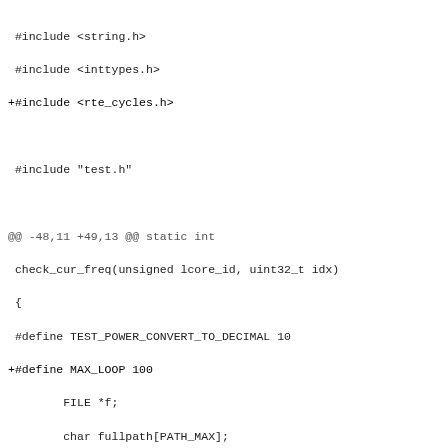#include <string.h>
 #include <inttypes.h>
+#include <rte_cycles.h>

 #include "test.h"

@@ -48,11 +49,13 @@ static int
 check_cur_freq(unsigned lcore_id, uint32_t idx)
 {
 #define TEST_POWER_CONVERT_TO_DECIMAL 10
+#define MAX_LOOP 100
        FILE *f;
        char fullpath[PATH_MAX];
        char buf[BUFSIZ];
        uint32_t cur_freq;
        int ret = -1;
+       int i;

        if (snprintf(fullpath, sizeof(fullpath),
                        TEST_POWER_SYSFILE_CUR_FREQ, lcore_id)
< 0) {
@@ -62,8 +65,24 @@ check_cur_freq(unsigned lcore_id,
uint32_t idx)
        if (f == NULL) {
                return 0;
        }
-       if (fgets(buf, sizeof(buf), f) == NULL) {
-                      goto fail_get_cur_freq;
+       for (i = 0; i < MAX_LOOP; i++) {
+                fflush(f);